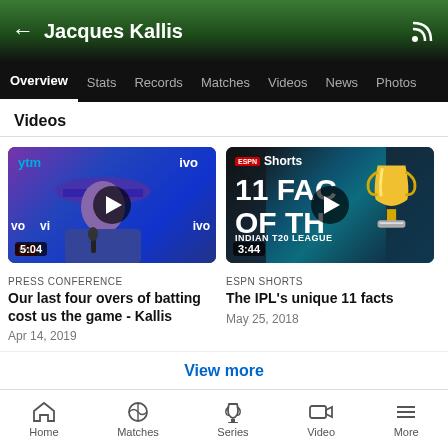Jacques Kallis
Overview  Stats  Records  Matches  Videos  News  Photos
Videos
[Figure (screenshot): Video thumbnail for press conference - Jacques Kallis speaking at IPL press conference. Duration: 5:04]
PRESS CONFERENCE
Our last four overs of batting cost us the game - Kallis
Apr 14, 2019
[Figure (screenshot): ESPN Shorts video thumbnail - 11 Facts of the Indian T20 League with trophy image. Duration: 3:44]
ESPN SHORTS
The IPL's unique 11 facts
May 25, 2018
View more
Home  Matches  Series  Video  More